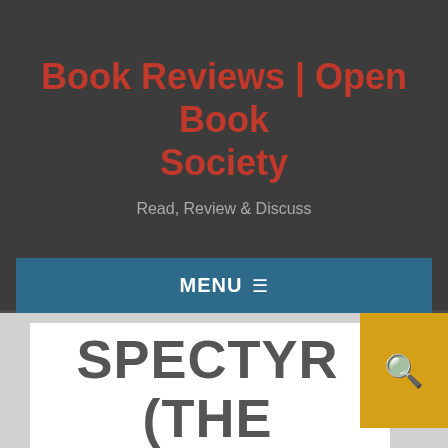Book Reviews | Open Book Society
Read, Review & Discuss
MENU ☰
SPECTYR (THE BOOK OF THE